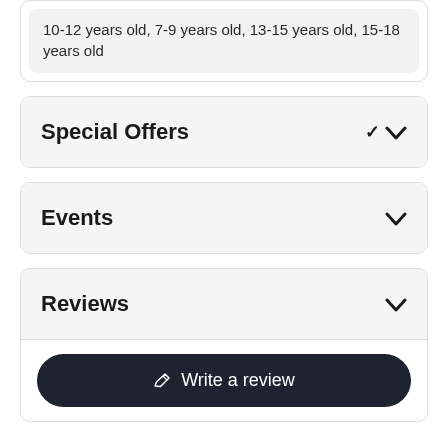10-12 years old, 7-9 years old, 13-15 years old, 15-18 years old
Special Offers
Events
Reviews
Write a review